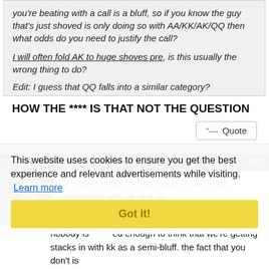you're beating with a call is a bluff, so if you know the guy that's just shoved is only doing so with AA/KK/AK/QQ then what odds do you need to justify the call?
I will often fold AK to huge shoves pre, is this usually the wrong thing to do?
Edit: I guess that QQ falls into a similar category?
HOW THE **** IS THAT NOT THE QUESTION
Quote
09-25-2010, 06:37 PM
#82
[Figure (photo): User avatar showing a person's face]
LOLpokemon
old hand
op was asking if he has equity to call huge overshoves with ak and qq
This website uses cookies to ensure you get the best experience and relevant advertisements while visiting. Learn more
Got it!
nobody is ******ed enough to think that we're getting stacks in with kk as a semi-bluff. the fact that you don't is